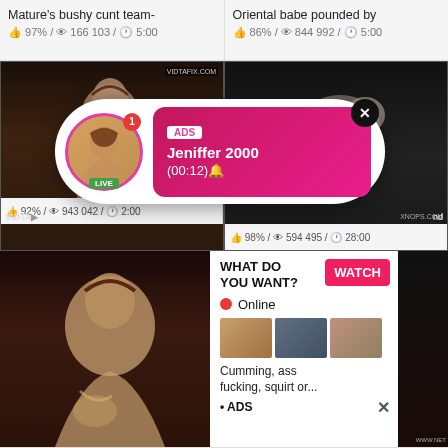Mature's bushy cunt team-
👍 97% / 👁 166 103 / 🕐 5:00
Oriental babe pounded by
👍 86% / 👁 844 992 / 🕐 5:00
[Figure (screenshot): Video thumbnail - left middle]
[Figure (screenshot): Video thumbnail - right middle]
👍 92% / 👁 943 042 / 🕐 2:00
👍 98% / 👁 594 495 / 🕐 28:00
[Figure (screenshot): Ad popup overlay with avatar, LIVE badge, ADS label, Jeniffer 2000, (00:12)]
[Figure (screenshot): Bottom left video thumbnail]
[Figure (screenshot): Bottom right video thumbnail (partial)]
[Figure (infographic): Ad panel: WHAT DO YOU WANT? WATCH button, Online indicator, three thumbnails, Cumming ass fucking squirt or... ADS]
WHAT DO YOU WANT?
WATCH
Online
Cumming, ass fucking, squirt or...
• ADS